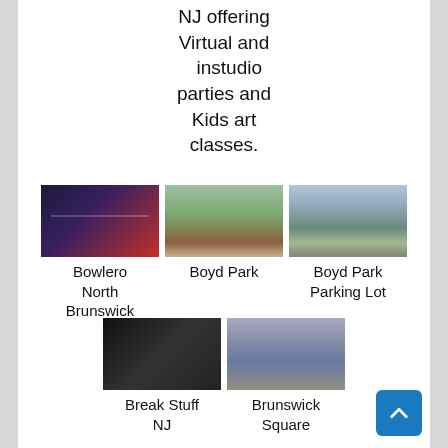NJ offering Virtual and instudio parties and Kids art classes.
[Figure (photo): Bowling alley with bumper cars on a checkered floor with LED lighting — Bowlero North Brunswick]
Bowlero North Brunswick
[Figure (photo): Brick arch gateway entrance to Boyd Park]
Boyd Park
[Figure (photo): Boyd Park Parking Lot exterior view with building in background]
Boyd Park Parking Lot
[Figure (photo): Dark interior room with person swinging — Break Stuff NJ]
Break Stuff NJ
[Figure (photo): Outdoor seating area or market — Brunswick Square]
Brunswick Square